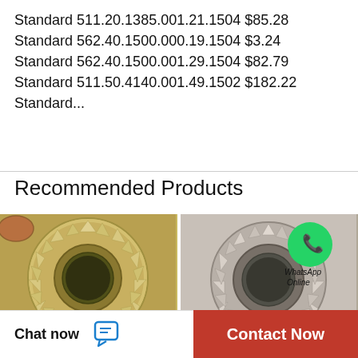Standard 511.20.1385.001.21.1504 $85.28 Standard 562.40.1500.000.19.1504 $3.24 Standard 562.40.1500.001.29.1504 $82.79 Standard 511.50.4140.001.49.1502 $182.22 Standard...
Recommended Products
[Figure (photo): Photo of NTN CRTD5005 Double Row Tapered Thrust bearing, gold/brass colored ring with tapered rollers]
[Figure (photo): Photo of NTN CRTD3401 Double Row Tapered Thrust bearing, gray/silver colored with WhatsApp Online badge overlay]
NTN CRTD5005 DOUBLE ROW TAPERED THR
NTN CRTD3401 DOUBLE ROW TAPERED THR
NTN CRTD5005 DOUBLE
NTN CRTD3401 DOUBLE
Chat now   Contact Now